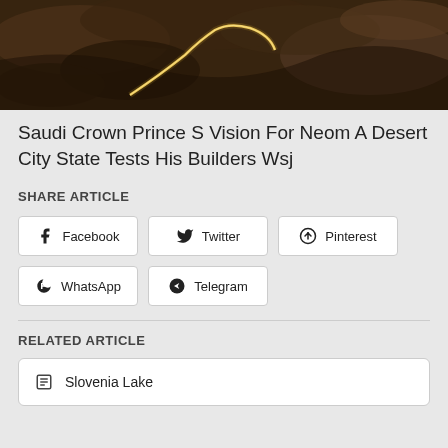[Figure (photo): Aerial/satellite image of a desert landscape with a glowing curved line structure (NEOM project), dark brown rocky terrain]
Saudi Crown Prince S Vision For Neom A Desert City State Tests His Builders Wsj
SHARE ARTICLE
Facebook
Twitter
Pinterest
WhatsApp
Telegram
RELATED ARTICLE
Slovenia Lake